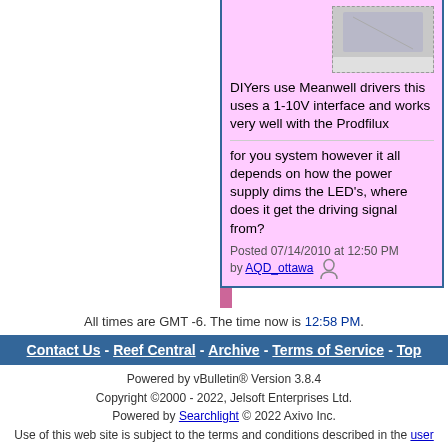[Figure (photo): Partial image of an electronic device/LED driver board, top portion cropped]
DIYers use Meanwell drivers this uses a 1-10V interface and works very well with the Prodfilux
for you system however it all depends on how the power supply dims the LED's, where does it get the driving signal from?
Posted 07/14/2010 at 12:50 PM by AQD_ottawa
All times are GMT -6. The time now is 12:58 PM.
Contact Us - Reef Central - Archive - Terms of Service - Top
Powered by vBulletin® Version 3.8.4
Copyright ©2000 - 2022, Jelsoft Enterprises Ltd.
Powered by Searchlight © 2022 Axivo Inc.
Use of this web site is subject to the terms and conditions described in the user agreement.
Reef Central™ Reef Central, LLC. Copyright ©1999-2022
User Alert System provided by Advanced User Tagging v3.3.0 (Pro) - vBulletin Mods & Addons Copyright © 2022 DragonByte Technologies Ltd.